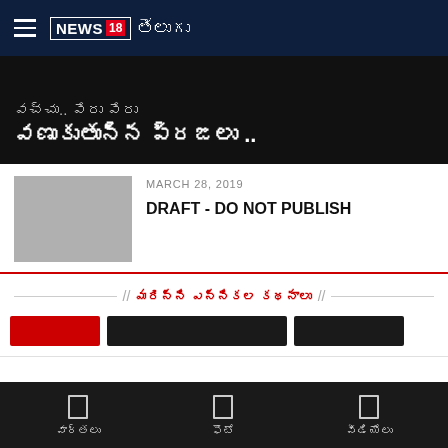NEWS 18 తెలుగు
వణుకుతున్న ప్రజలు..
MARCH 28, 2019
DRAFT - DO NOT PUBLISH
మరిన్ని ఎన్నికల కథనాలు
[redacted headline in Telugu]
వార్తలు  ఫొటో  వీడియోలు